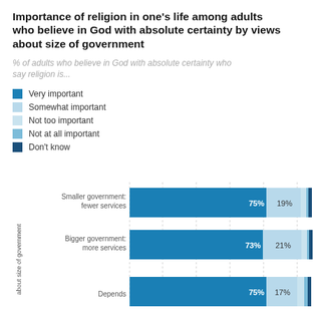Importance of religion in one's life among adults who believe in God with absolute certainty by views about size of government
% of adults who believe in God with absolute certainty who say religion is...
Very important
Somewhat important
Not too important
Not at all important
Don't know
[Figure (stacked-bar-chart): Importance of religion in one's life among adults who believe in God with absolute certainty by views about size of government]